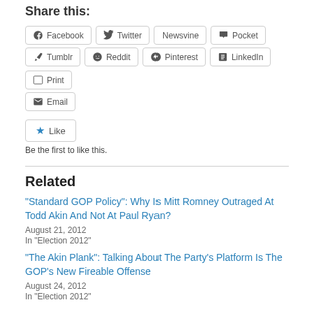Share this:
Facebook | Twitter | Newsvine | Pocket | Tumblr | Reddit | Pinterest | LinkedIn | Print | Email
Like
Be the first to like this.
Related
“Standard GOP Policy”: Why Is Mitt Romney Outraged At Todd Akin And Not At Paul Ryan?
August 21, 2012
In “Election 2012”
“The Akin Plank”: Talking About The Party’s Platform Is The GOP’s New Fireable Offense
August 24, 2012
In “Election 2012”